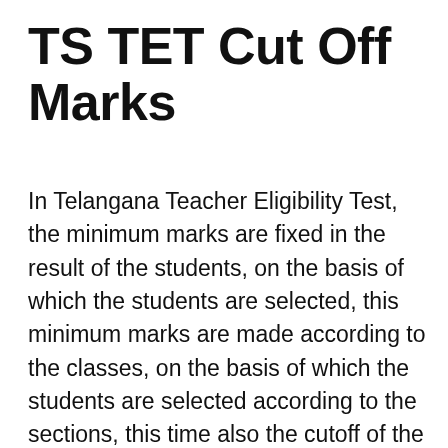TS TET Cut Off Marks
In Telangana Teacher Eligibility Test, the minimum marks are fixed in the result of the students, on the basis of which the students are selected, this minimum marks are made according to the classes, on the basis of which the students are selected according to the sections, this time also the cutoff of the students will be determined in which the students securing the minimum marks will be selected in the Teacher Eligibility Test.